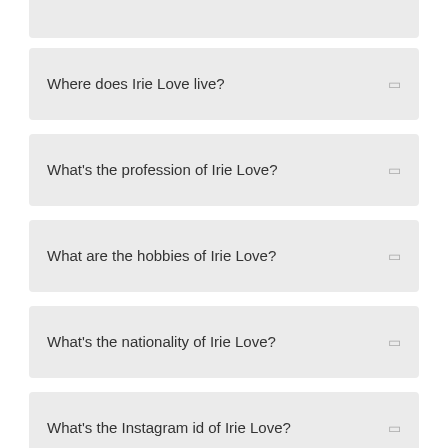Where does Irie Love live?
What's the profession of Irie Love?
What are the hobbies of Irie Love?
What's the nationality of Irie Love?
What's the Instagram id of Irie Love?